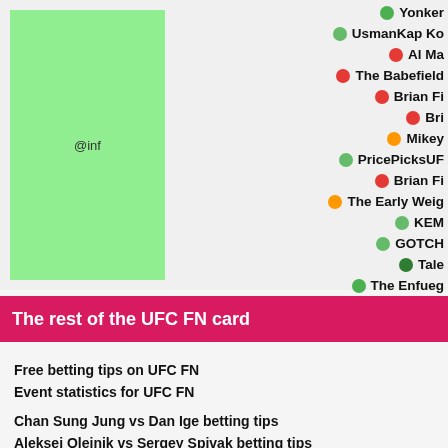[Figure (other): Scatter/bubble chart partial view showing a green rectangle labeled @inf on the left, and a legend on the right with colored dots and partially visible names including Yonker, UsmanKap Ko, Al Ma, The Babefield, Brian Fi, Bri, Mikey, PricePicksUF, Brian Fi, The Early Weig, KEM, GOTCH, Tale, The Enfueg, Tyler, Title T]
The rest of the UFC FN card
Free betting tips on UFC FN
Event statistics for UFC FN
Chan Sung Jung vs Dan Ige betting tips
Aleksei Oleinik vs Sergey Spivak betting tips
Marlon Vera vs Davey Grant betting tips